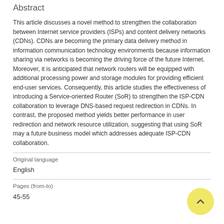Abstract
This article discusses a novel method to strengthen the collaboration between Internet service providers (ISPs) and content delivery networks (CDNs). CDNs are becoming the primary data delivery method in information communication technology environments because information sharing via networks is becoming the driving force of the future Internet. Moreover, it is anticipated that network routers will be equipped with additional processing power and storage modules for providing efficient end-user services. Consequently, this article studies the effectiveness of introducing a Service-oriented Router (SoR) to strengthen the ISP-CDN collaboration to leverage DNS-based request redirection in CDNs. In contrast, the proposed method yields better performance in user redirection and network resource utilization, suggesting that using SoR may a future business model which addresses adequate ISP-CDN collaboration.
Original language
English
Pages (from-to)
45-55